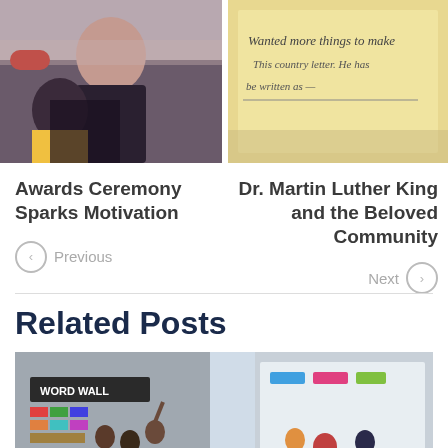[Figure (photo): Teacher working with a student in a classroom setting]
[Figure (photo): Handwritten text on a board or paper, partially visible]
Awards Ceremony Sparks Motivation
Dr. Martin Luther King and the Beloved Community
◯ Previous
Next ◯
Related Posts
[Figure (photo): Classroom scene with students sitting at desks; a Word Wall bulletin board is visible on the left, and a whiteboard on the right. Students appear to be in a group discussion.]